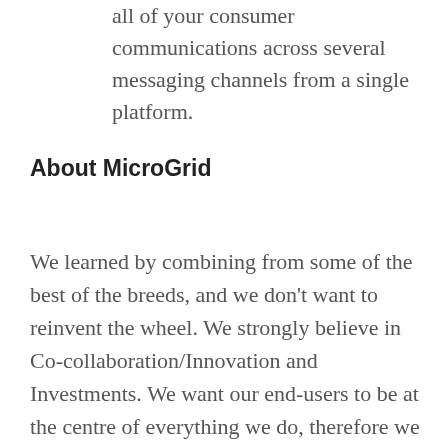all of your consumer communications across several messaging channels from a single platform.
About MicroGrid
We learned by combining from some of the best of the breeds, and we don't want to reinvent the wheel. We strongly believe in Co-collaboration/Innovation and Investments. We want our end-users to be at the centre of everything we do, therefore we put ourselves in our customers' shoes to learn about their consumers. Office locations in India, USA, Singapore, UK,